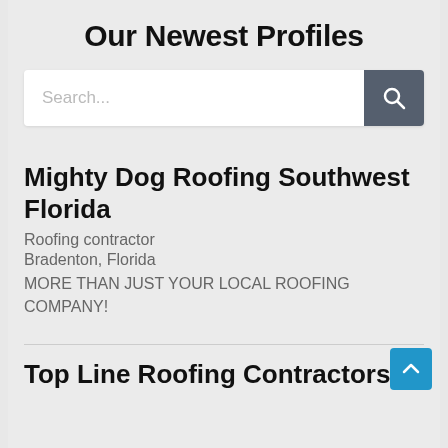Our Newest Profiles
[Figure (screenshot): Search bar with text input placeholder 'Search...' and a dark grey search button with magnifying glass icon]
Mighty Dog Roofing Southwest Florida
Roofing contractor
Bradenton, Florida
MORE THAN JUST YOUR LOCAL ROOFING COMPANY!
Top Line Roofing Contractors